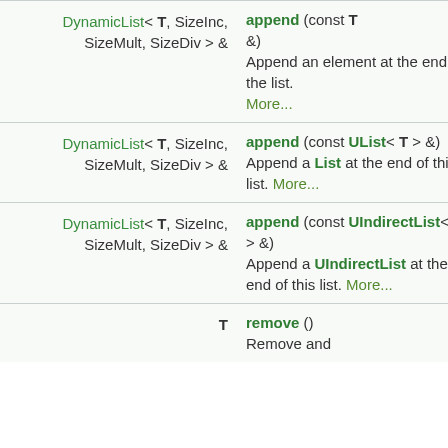| Return type / Left | Function / Right |
| --- | --- |
| DynamicList< T, SizeInc, SizeMult, SizeDiv > & | append (const T &)
Append an element at the end of the list. More... |
| DynamicList< T, SizeInc, SizeMult, SizeDiv > & | append (const UList< T > &)
Append a List at the end of this list. More... |
| DynamicList< T, SizeInc, SizeMult, SizeDiv > & | append (const UIndirectList< T > &)
Append a UIndirectList at the end of this list. More... |
| T | remove ()
Remove and |